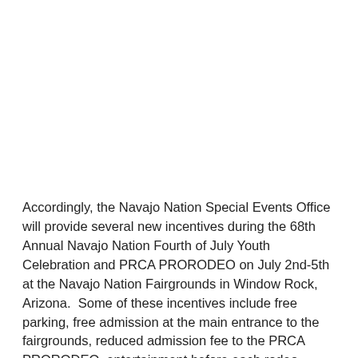Accordingly, the Navajo Nation Special Events Office will provide several new incentives during the 68th Annual Navajo Nation Fourth of July Youth Celebration and PRCA PRORODEO on July 2nd-5th at the Navajo Nation Fairgrounds in Window Rock, Arizona.  Some of these incentives include free parking, free admission at the main entrance to the fairgrounds, reduced admission fee to the PRCA PRORODEO, entertainment before each rodeo performance, free admission to the rodeo slack performance on July 2nd, prizes and free autograph sessions with the PRCA PRORODEO contestants.